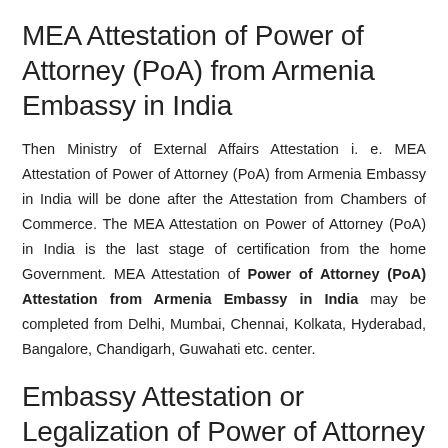MEA Attestation of Power of Attorney (PoA) from Armenia Embassy in India
Then Ministry of External Affairs Attestation i. e. MEA Attestation of Power of Attorney (PoA) from Armenia Embassy in India will be done after the Attestation from Chambers of Commerce. The MEA Attestation on Power of Attorney (PoA) in India is the last stage of certification from the home Government. MEA Attestation of Power of Attorney (PoA) Attestation from Armenia Embassy in India may be completed from Delhi, Mumbai, Chennai, Kolkata, Hyderabad, Bangalore, Chandigarh, Guwahati etc. center.
Embassy Attestation or Legalization of Power of Attorney (PoA) from Armenia Embassy in India